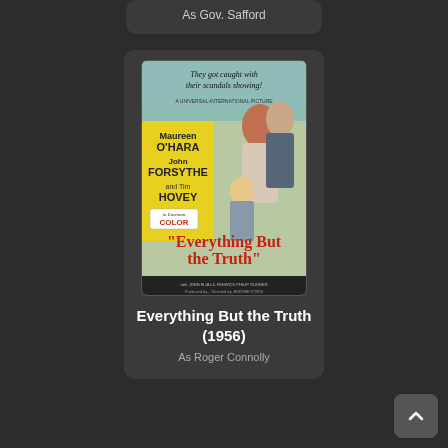As Gov. Safford
[Figure (illustration): Movie poster for 'Everything But the Truth' (1956) featuring Maureen O'Hara, John Forsythe, and Tim Hovey in Eastman Color]
Everything But the Truth (1956)
As Roger Connolly